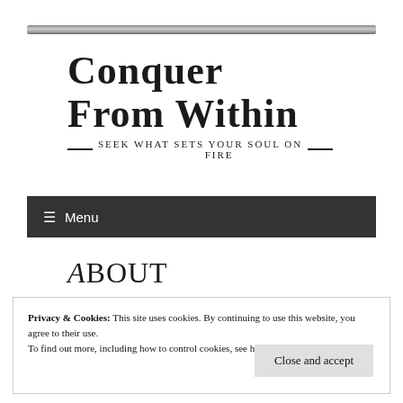[Figure (other): Decorative horizontal gradient bar at the top of the page]
Conquer From Within — Seek What Sets Your Soul On Fire
≡ Menu
About
Privacy & Cookies: This site uses cookies. By continuing to use this website, you agree to their use. To find out more, including how to control cookies, see here: Cookie Policy
Close and accept